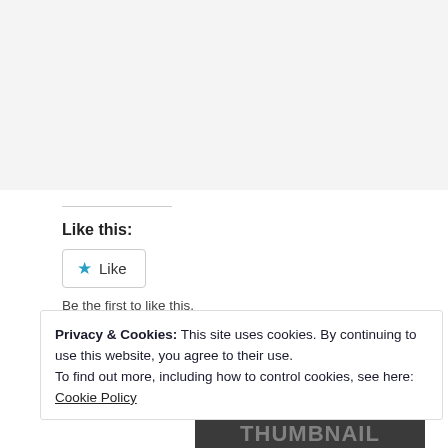Like this:
Like
Be the first to like this.
Privacy & Cookies: This site uses cookies. By continuing to use this website, you agree to their use.
To find out more, including how to control cookies, see here: Cookie Policy
[Figure (screenshot): Video player overlay showing 'How To Make Professional Gaming Thu...' with message 'No compatible source was found for this media.' and a gaming thumbnail background with text 'GAMING THUMBNAIL']